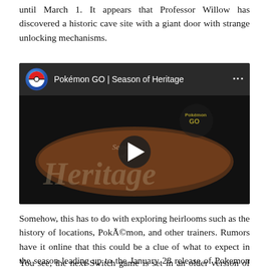until March 1. It appears that Professor Willow has discovered a historic cave site with a giant door with strange unlocking mechanisms.
[Figure (screenshot): Embedded YouTube video thumbnail for 'Pokémon GO | Season of Heritage' showing dark background with stylized 'Season of Heritage' logo and a play button in the center.]
Somehow, this has to do with exploring heirlooms such as the history of locations, PokÃ©mon, and other trainers. Rumors have it online that this could be a clue of what to expect in the season leading up to the January 28 release of Pokemon Legends: Arceus.
You see, the next Switch game is set in an older version of the Sinnoh